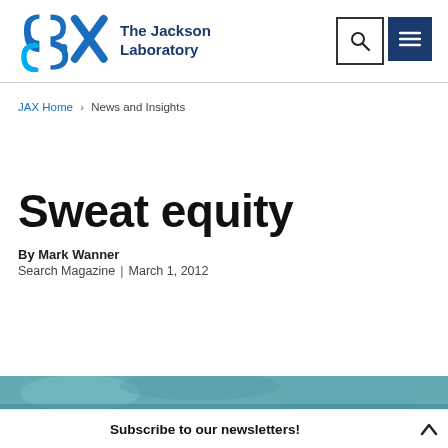The Jackson Laboratory
JAX Home > News and Insights
Sweat equity
By Mark Wanner
Search Magazine  |  March 1, 2012
[Figure (photo): Hero image strip at bottom of content area, showing a teal/nature scene]
Subscribe to our newsletters!